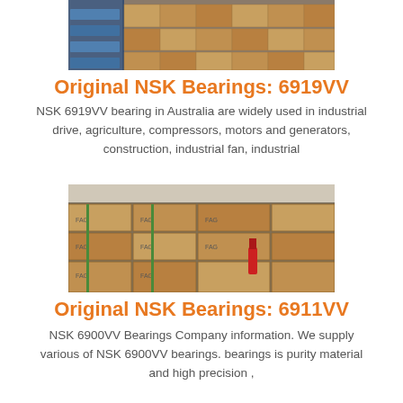[Figure (photo): Warehouse with stacked boxes and storage shelves, NSK bearings inventory]
Original NSK Bearings: 6919VV
NSK 6919VV bearing in Australia are widely used in industrial drive, agriculture, compressors, motors and generators, construction, industrial fan, industrial
[Figure (photo): Warehouse stacked with FAG bearing boxes on pallets]
Original NSK Bearings: 6911VV
NSK 6900VV Bearings Company information. We supply various of NSK 6900VV bearings. bearings is purity material and high precision ,